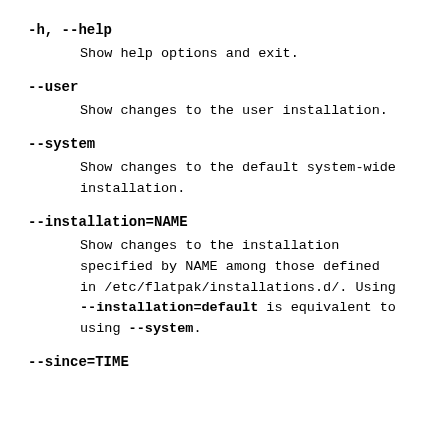-h, --help
    Show help options and exit.
--user
    Show changes to the user installation.
--system
    Show changes to the default system-wide installation.
--installation=NAME
    Show changes to the installation specified by NAME among those defined in /etc/flatpak/installations.d/. Using --installation=default is equivalent to using --system.
--since=TIME